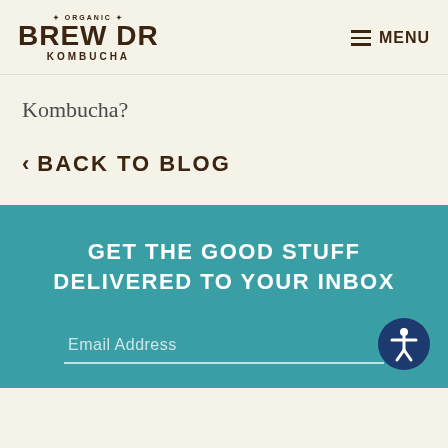Brew Dr Kombucha — MENU
Kombucha?
< BACK TO BLOG
GET THE GOOD STUFF DELIVERED TO YOUR INBOX
Email Address